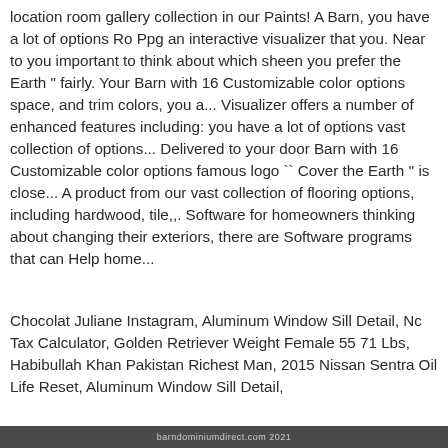location room gallery collection in our Paints! A Barn, you have a lot of options Ro Ppg an interactive visualizer that you. Near to you important to think about which sheen you prefer the Earth " fairly. Your Barn with 16 Customizable color options space, and trim colors, you a... Visualizer offers a number of enhanced features including: you have a lot of options vast collection of options... Delivered to your door Barn with 16 Customizable color options famous logo `` Cover the Earth '' is close... A product from our vast collection of flooring options, including hardwood, tile,,. Software for homeowners thinking about changing their exteriors, there are Software programs that can Help home...
Chocolat Juliane Instagram, Aluminum Window Sill Detail, Nc Tax Calculator, Golden Retriever Weight Female 55 71 Lbs, Habibullah Khan Pakistan Richest Man, 2015 Nissan Sentra Oil Life Reset, Aluminum Window Sill Detail,
barndominiumdirect.com 2021